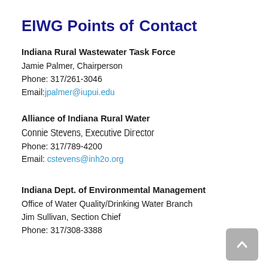EIWG Points of Contact
Indiana Rural Wastewater Task Force
Jamie Palmer, Chairperson
Phone: 317/261-3046
Email: jpalmer@iupui.edu
Alliance of Indiana Rural Water
Connie Stevens, Executive Director
Phone: 317/789-4200
Email: cstevens@inh2o.org
Indiana Dept. of Environmental Management
Office of Water Quality/Drinking Water Branch
Jim Sullivan, Section Chief
Phone: 317/308-3388